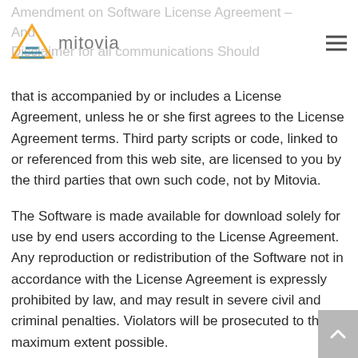Amendment on Software License Agreement – And Disclaimer for all communications Should
[Figure (logo): Mitovia logo: orange/yellow pyramid triangle icon with horizontal lines at base, with grey text 'mitovia' beside it]
that is accompanied by or includes a License Agreement, unless he or she first agrees to the License Agreement terms. Third party scripts or code, linked to or referenced from this web site, are licensed to you by the third parties that own such code, not by Mitovia.
The Software is made available for download solely for use by end users according to the License Agreement. Any reproduction or redistribution of the Software not in accordance with the License Agreement is expressly prohibited by law, and may result in severe civil and criminal penalties. Violators will be prosecuted to the maximum extent possible.
WITHOUT LIMITING THE FOREGOING, COPYING OR REPRODUCTION OF THE SOFTWARE TO ANY OTHER SERVER OR LOCATION FOR FURTHER REPRODUCTION OR